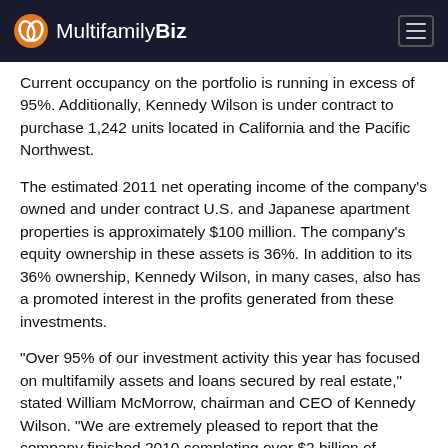MultifamilyBiz
Current occupancy on the portfolio is running in excess of 95%. Additionally, Kennedy Wilson is under contract to purchase 1,242 units located in California and the Pacific Northwest.
The estimated 2011 net operating income of the company's owned and under contract U.S. and Japanese apartment properties is approximately $100 million. The company's equity ownership in these assets is 36%. In addition to its 36% ownership, Kennedy Wilson, in many cases, also has a promoted interest in the profits generated from these investments.
"Over 95% of our investment activity this year has focused on multifamily assets and loans secured by real estate," stated William McMorrow, chairman and CEO of Kennedy Wilson. "We are extremely pleased to report that the company finished 2010 completing over $2 billion of acquisitions."
Founded in 1977, Kennedy Wilson is an international real estate